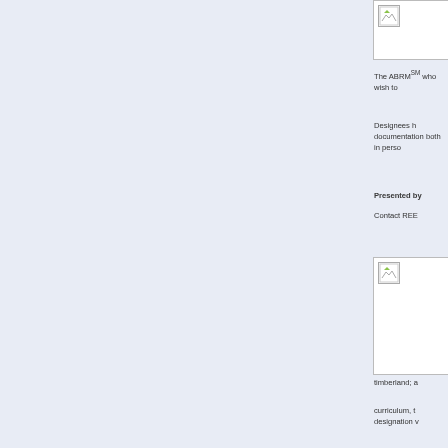[Figure (photo): Small broken image placeholder at top right]
The ABRM℠ who wish to
Designees h documentation both in perso
Presented by
Contact REE
[Figure (photo): Larger broken image placeholder at lower right]
timberland; a
curriculum, t designation v